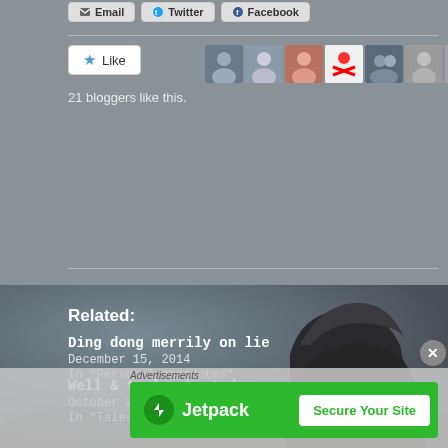[Figure (screenshot): Share buttons row showing Email, Twitter, Facebook buttons]
[Figure (screenshot): Like button with star icon, followed by a row of 9 blogger avatar thumbnails]
21 bloggers like this.
Related:
Ding dong merrily on lie
December 15, 2014
In "Personal anecdotes"
Well & truly ghosted
October 26, 2015
In "Tales of the City series"
[Figure (photo): Background photo of a person in a dark hooded sweater viewed from behind against a grey sky]
[Figure (screenshot): Jetpack advertisement banner with green background, Jetpack logo and Secure Your Site button]
Advertisements